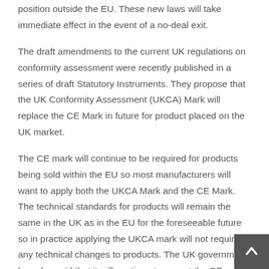position outside the EU. These new laws will take immediate effect in the event of a no-deal exit.
The draft amendments to the current UK regulations on conformity assessment were recently published in a series of draft Statutory Instruments. They propose that the UK Conformity Assessment (UKCA) Mark will replace the CE Mark in future for product placed on the UK market.
The CE mark will continue to be required for products being sold within the EU so most manufacturers will want to apply both the UKCA Mark and the CE Mark. The technical standards for products will remain the same in the UK as in the EU for the foreseeable future so in practice applying the UKCA mark will not require any technical changes to products. The UK government has also said that it will continue to accept the CE mark as equivalent to the UKCA mark until a date which has yet to be announced so most manufacturers will not need to make any immediate changes to their products or